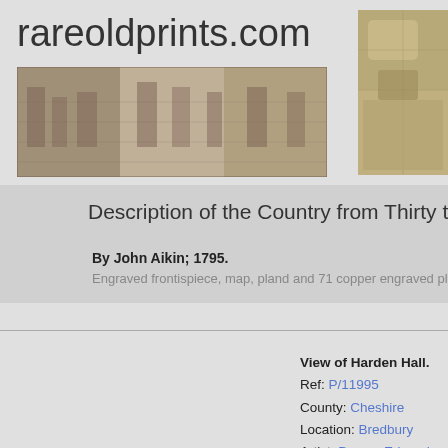rareoldprints.com
[Figure (photo): Banner image showing an engraving of a printing workshop with workers operating printing presses]
[Figure (photo): Corner image showing a partial view of an old map or print]
Description of the Country from Thirty to...
By John Aikin; 1795.
Engraved frontispiece, map, pland and 71 copper engraved plat...
View of Harden Hall.
Ref: P/11995
County: Cheshire
Location: Bredbury
Artist: Dayes, Edward
Engraver: Wilson